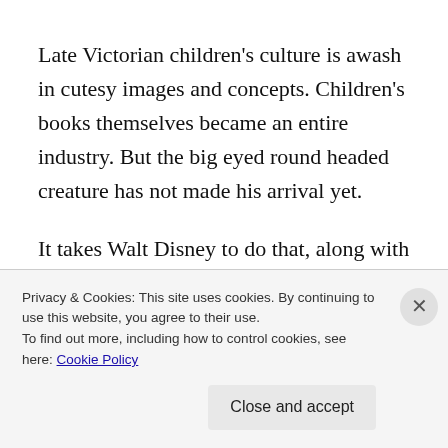Late Victorian children's culture is awash in cutesy images and concepts. Children's books themselves became an entire industry. But the big eyed round headed creature has not made his arrival yet.
It takes Walt Disney to do that, along with his German graphic designer Ub Iwerks. With work on Oswald the Rabbit in the mid-20s and then in 1928 the debut of Mickey Mouse in Steamboat Willie a decisive moment had
Privacy & Cookies: This site uses cookies. By continuing to use this website, you agree to their use. To find out more, including how to control cookies, see here: Cookie Policy
Close and accept